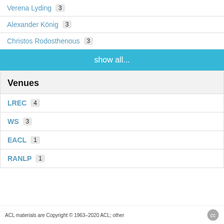Verena Lyding 3
Alexander König 3
Christos Rodosthenous 3
show all...
Venues
LREC 4
WS 3
EACL 1
RANLP 1
ACL materials are Copyright © 1963–2020 ACL; other